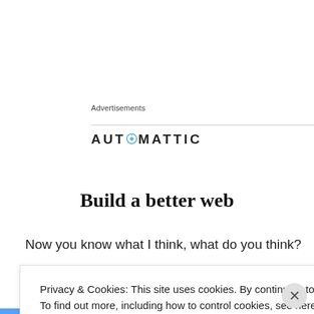Advertisements
[Figure (logo): Automattic logo with compass-like 'O']
Build a better web
Now you know what I think, what do you think?
Privacy & Cookies: This site uses cookies. By continuing to use this website, you agree to their use.
To find out more, including how to control cookies, see here: Cookie Policy
Close and accept